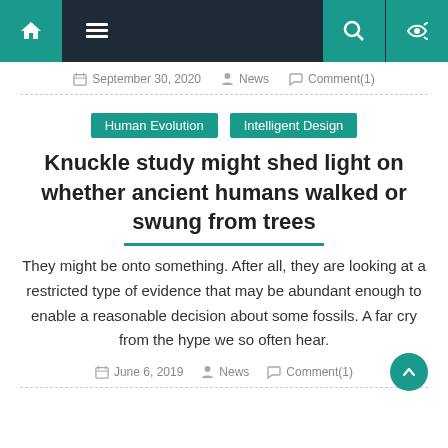Navigation bar with home, menu, search, and shuffle icons
September 30, 2020   News   Comment(1)
Human Evolution   Intelligent Design
Knuckle study might shed light on whether ancient humans walked or swung from trees
They might be onto something. After all, they are looking at a restricted type of evidence that may be abundant enough to enable a reasonable decision about some fossils. A far cry from the hype we so often hear.
June 6, 2019   News   Comment(1)